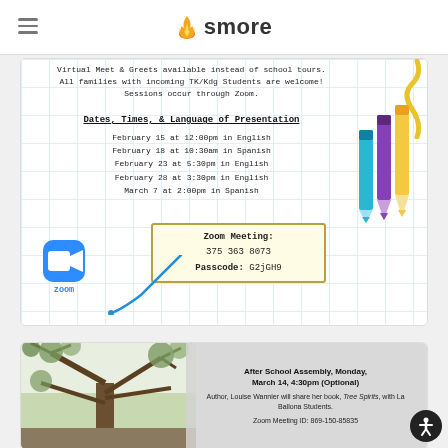smore
[Figure (infographic): Virtual Meet & Greets flyer with grid background, zoom icon, pencil illustrations, dates and Zoom meeting info for incoming TK/Kdg students]
[Figure (infographic): After School Assembly announcement with photo of tree and text about author Louise Wannier sharing book Tree Spirits with La Ballona Students, Zoom Meeting ID: 869-150-85835]